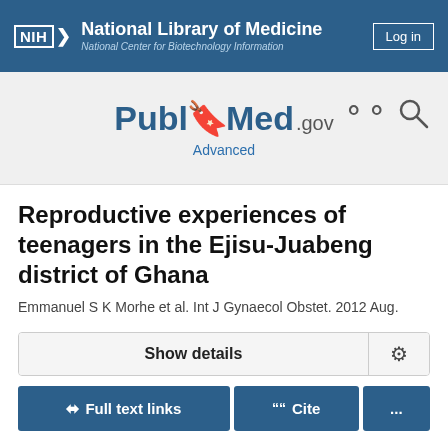National Library of Medicine — National Center for Biotechnology Information
[Figure (logo): PubMed.gov logo with search icon]
Reproductive experiences of teenagers in the Ejisu-Juabeng district of Ghana
Emmanuel S K Morhe et al. Int J Gynaecol Obstet. 2012 Aug.
Show details
Full text links | Cite | ...
Abstract